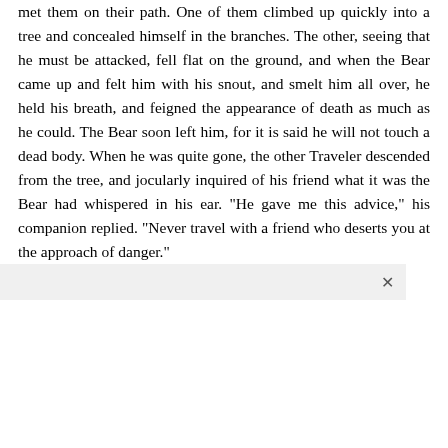met them on their path. One of them climbed up quickly into a tree and concealed himself in the branches. The other, seeing that he must be attacked, fell flat on the ground, and when the Bear came up and felt him with his snout, and smelt him all over, he held his breath, and feigned the appearance of death as much as he could. The Bear soon left him, for it is said he will not touch a dead body. When he was quite gone, the other Traveler descended from the tree, and jocularly inquired of his friend what it was the Bear had whispered in his ear. "He gave me this advice," his companion replied. "Never travel with a friend who deserts you at the approach of danger."